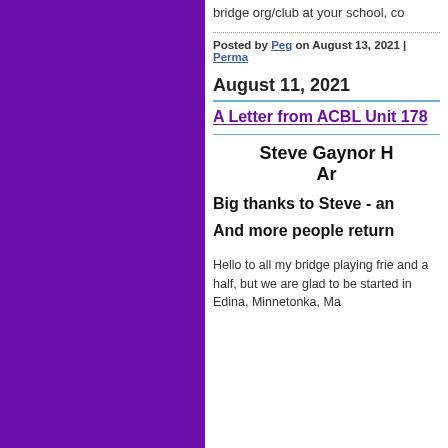bridge org/club at your school, co
Posted by Peg on August 13, 2021 | Perma
August 11, 2021
A Letter from ACBL Unit 178
Steve Gaynor H
Ar
Big thanks to Steve - an
And more people return
Hello to all my bridge playing frie and a half, but we are glad to be started in Edina, Minnetonka, Ma